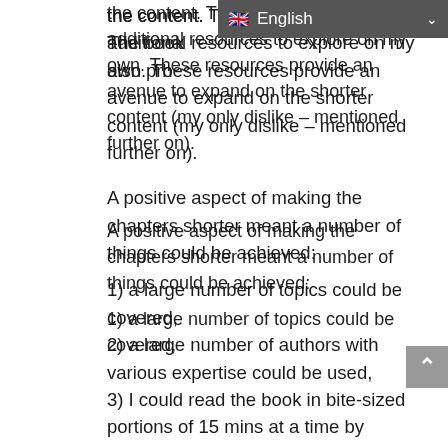the content. The book also provides additional resources to explore on my own. These resources provide an avenue to expand on the shorter content (my only dislike – mentioned further on).
A positive aspect of making the chapters shorter meant a number of things could be achieved:
1) a large number of topics could be covered,
2) a large number of authors with various expertise could be used,
3) I could read the book in bite-sized portions of 15 mins at a time by approaching each chapter as a short article
A number of the chapters had content that would have been good to explore further, however, all chapters were presented in a smaller format which made it feel like a series of articles that only covered the surface.
Given the breakdown of the book: 9 sections which were further grouped into 4 key areas, this handbook